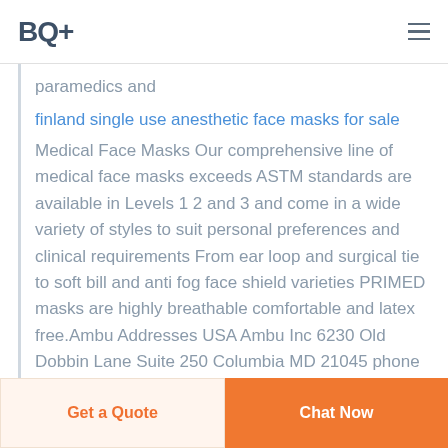BQ+
paramedics and
finland single use anesthetic face masks for sale
Medical Face Masks Our comprehensive line of medical face masks exceeds ASTM standards are available in Levels 1 2 and 3 and come in a wide variety of styles to suit personal preferences and clinical requirements From ear loop and surgical tie to soft bill and anti fog face shield varieties PRIMED masks are highly breathable comfortable and latex free.Ambu Addresses USA Ambu Inc 6230 Old Dobbin Lane Suite 250 Columbia MD 21045 phone 1 410 768 6464 phone 1 800 262 8462 print 1 410 768 3993
Get a Quote
Chat Now